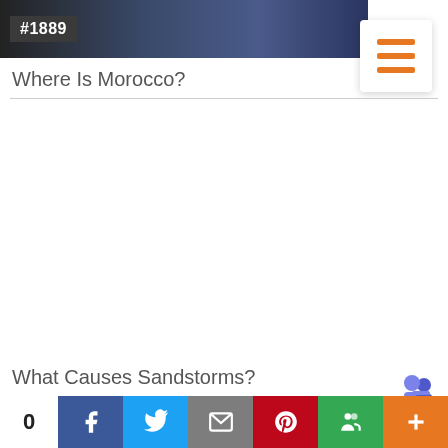[Figure (photo): Dark nighttime cityscape photo with tag #1889]
[Figure (illustration): Hamburger menu icon with three orange horizontal lines on white background with shadow]
Where Is Morocco?
[Figure (photo): Dark gray/black rectangle card with tag #1880]
What Causes Sandstorms?
[Figure (logo): Microsoft Teams logo icon]
0 Share buttons: Facebook, Twitter, Email, Pinterest, Google+, More